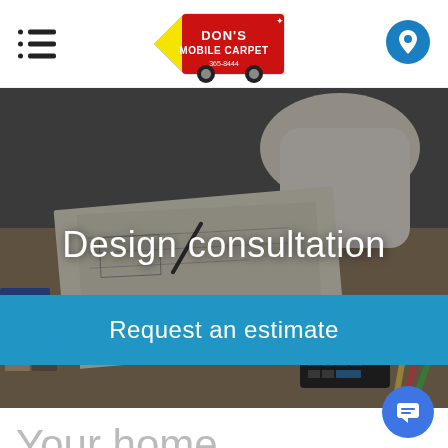[Figure (logo): Don's Mobile Carpet logo — yellow arrow-shaped van with red text]
[Figure (photo): Hero photo showing hands working on design plans at a desk with tools, carpet samples, and calculator]
Design consultation
Request an estimate
Your home deserves a professional design...